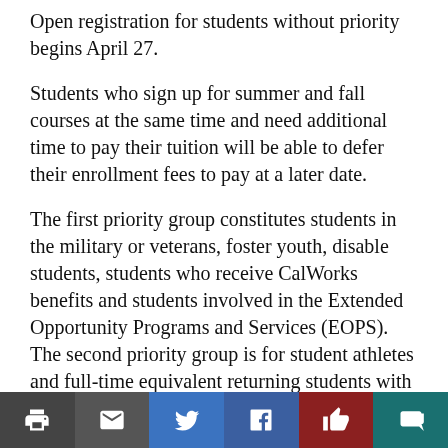Open registration for students without priority begins April 27.
Students who sign up for summer and fall courses at the same time and need additional time to pay their tuition will be able to defer their enrollment fees to pay at a later date.
The first priority group constitutes students in the military or veterans, foster youth, disable students, students who receive CalWorks benefits and students involved in the Extended Opportunity Programs and Services (EOPS). The second priority group is for student athletes and full-time equivalent returning students with at least 42 units.
The AB 540 form allows nonresidents to apply for
[Figure (other): Social sharing toolbar with icons for print, email, Twitter, Facebook, like/thumbs-up, and comment]